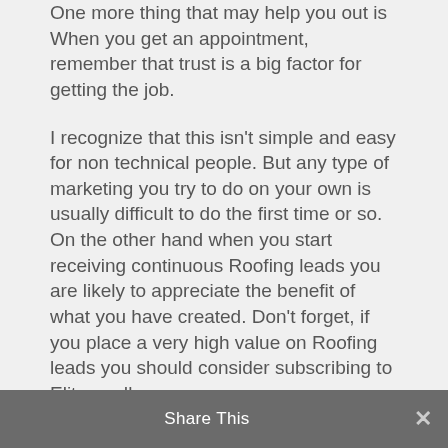One more thing that may help you out is When you get an appointment, remember that trust is a big factor for getting the job.
I recognize that this isn't simple and easy for non technical people. But any type of marketing you try to do on your own is usually difficult to do the first time or so. On the other hand when you start receiving continuous Roofing leads you are likely to appreciate the benefit of what you have created. Don't forget, if you place a very high value on Roofing leads you should consider subscribing to Elitezoodle
Share This